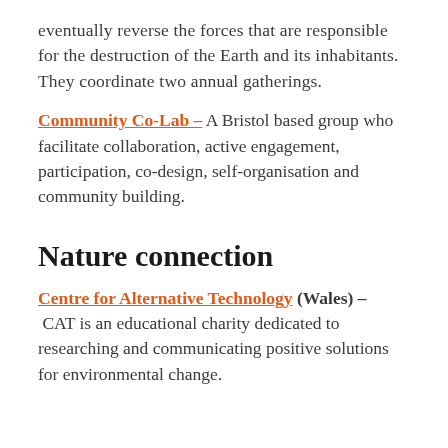eventually reverse the forces that are responsible for the destruction of the Earth and its inhabitants. They coordinate two annual gatherings.
Community Co-Lab – A Bristol based group who facilitate collaboration, active engagement, participation, co-design, self-organisation and community building.
Nature connection
Centre for Alternative Technology (Wales) – CAT is an educational charity dedicated to researching and communicating positive solutions for environmental change.